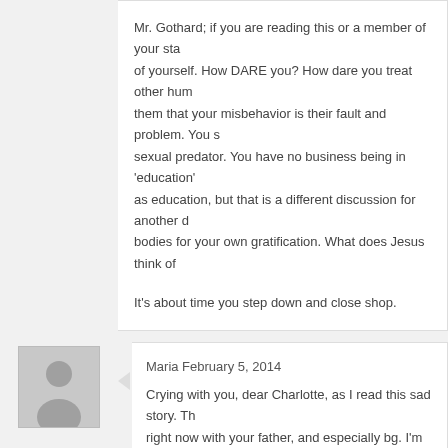Mr. Gothard; if you are reading this or a member of your staff is, be ashamed of yourself. How DARE you? How dare you treat other human beings that way, telling them that your misbehavior is their fault and problem. You sir, are a sexual predator. You have no business being in 'education' — I use that term lightly as education, but that is a different discussion for another day. You use peoples bodies for your own gratification. What does Jesus think of that?

It's about time you step down and close shop.
Maria February 5, 2014

Crying with you, dear Charlotte, as I read this sad story. The situation right now with your father, and especially bg. I'm sick to my stomach that you were already wounded by your father. Oh God, please... and those others.
You are not dirty, Charlotte, you are beautiful! You are pure and lovely! If your father is dead now (sorry, it brings relief knowing that he can't...) get "something else" cut off ASAP so he doesn't touch any other...